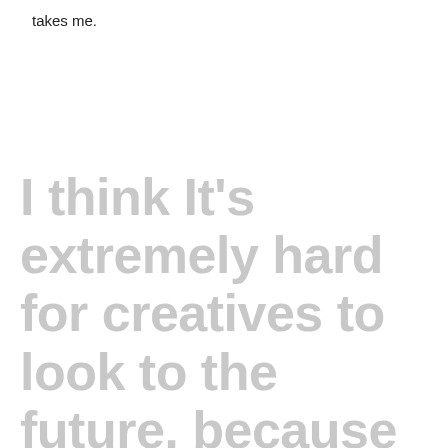takes me.
I think It's extremely hard for creatives to look to the future, because the industry is changing so fast and people are constantly